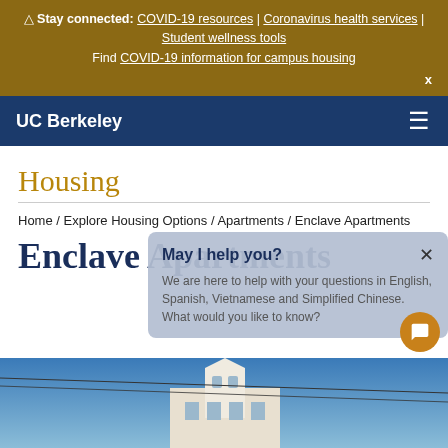⚠ Stay connected: COVID-19 resources | Coronavirus health services | Student wellness tools
Find COVID-19 information for campus housing
x
UC Berkeley ☰
Housing
Home / Explore Housing Options / Apartments / Enclave Apartments
Enclave Apartments
[Figure (screenshot): Chat popup overlay: 'May I help you?' with X close button, text 'We are here to help with your questions in English, Spanish, Vietnamese and Simplified Chinese. What would you like to know?' with an orange chat bubble button]
[Figure (photo): Photo of a white building with a tower/steeple against a blue sky]